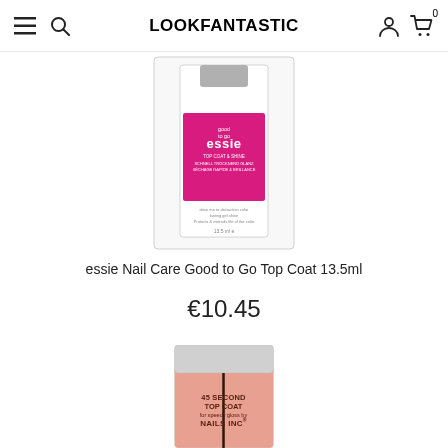LOOKFANTASTIC
[Figure (photo): essie Nail Care Good to Go Top Coat 13.5ml product bottle in white square packaging with pink essie label]
essie Nail Care Good to Go Top Coat 13.5ml
€10.45
[Figure (photo): Nails Inc 45 Second Top Coat for speedy gloss nail polish bottle in peach/rose color with silver cap]